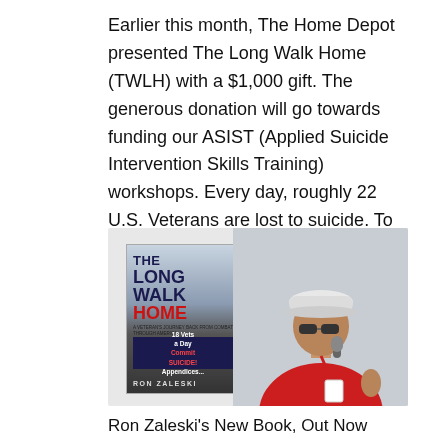Earlier this month, The Home Depot presented The Long Walk Home (TWLH) with a $1,000 gift. The generous donation will go towards funding our ASIST (Applied Suicide Intervention Skills Training) workshops. Every day, roughly 22 U.S. Veterans are lost to suicide. To all...
[Figure (photo): Image showing a book cover for 'The Long Walk Home' by Ron Zaleski (featuring text '18 Vets a Day Commit Suicide') alongside a man in a red polo shirt and white cap speaking into a microphone with a red lanyard and name badge.]
Ron Zaleski's New Book, Out Now